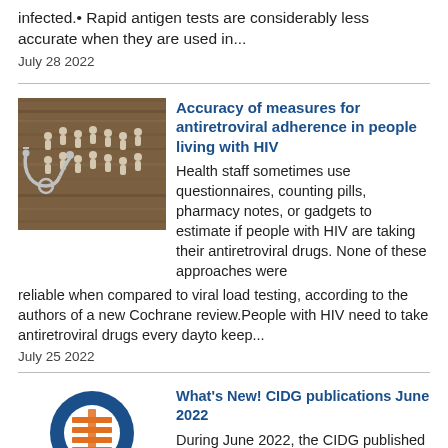infected.• Rapid antigen tests are considerably less accurate when they are used in...
July 28 2022
[Figure (photo): Photo showing stethoscope and wooden human figures arranged on a wooden background]
Accuracy of measures for antiretroviral adherence in people living with HIV
Health staff sometimes use questionnaires, counting pills, pharmacy notes, or gadgets to estimate if people with HIV are taking their antiretroviral drugs. None of these approaches were reliable when compared to viral load testing, according to the authors of a new Cochrane review.People with HIV need to take antiretroviral drugs every dayto keep...
July 25 2022
[Figure (logo): CIDG circular logo with blue ring and orange horizontal lines in center]
What's New! CIDG publications June 2022
During June 2022, the CIDG published one new review, and two updated reviews in Issue 6, 2022 of the Cochrane Database of